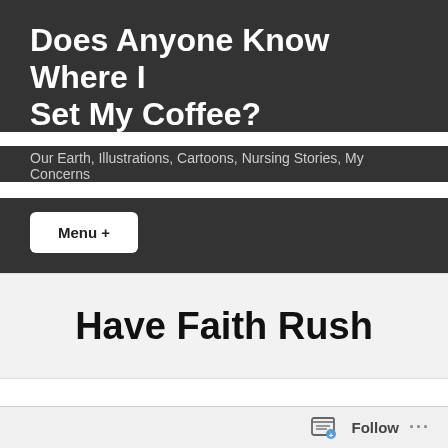Does Anyone Know Where I Set My Coffee?
Our Earth, Illustrations, Cartoons, Nursing Stories, My Concerns
Menu +
Have Faith Rush
by Mr. Schnell
I just don't understand. The Trump cult and guys like Rush Limbaugh bash science every chance they